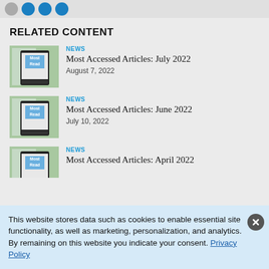[Figure (other): Social media sharing icon circles (grey, blue, blue, blue) at top]
RELATED CONTENT
[Figure (photo): Thumbnail image of tablet showing 'Most Read' text]
NEWS
Most Accessed Articles: July 2022
August 7, 2022
[Figure (photo): Thumbnail image of tablet showing 'Most Read' text]
NEWS
Most Accessed Articles: June 2022
July 10, 2022
[Figure (photo): Thumbnail image of tablet showing 'Most Read' text (partial)]
NEWS
Most Accessed Articles: April 2022
This website stores data such as cookies to enable essential site functionality, as well as marketing, personalization, and analytics. By remaining on this website you indicate your consent. Privacy Policy